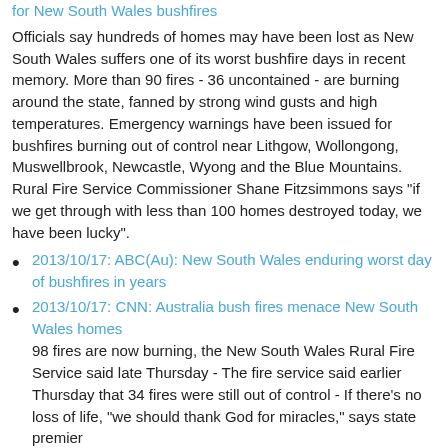for New South Wales bushfires
Officials say hundreds of homes may have been lost as New South Wales suffers one of its worst bushfire days in recent memory. More than 90 fires - 36 uncontained - are burning around the state, fanned by strong wind gusts and high temperatures. Emergency warnings have been issued for bushfires burning out of control near Lithgow, Wollongong, Muswellbrook, Newcastle, Wyong and the Blue Mountains. Rural Fire Service Commissioner Shane Fitzsimmons says "if we get through with less than 100 homes destroyed today, we have been lucky".
2013/10/17: ABC(Au): New South Wales enduring worst day of bushfires in years
2013/10/17: CNN: Australia bush fires menace New South Wales homes
98 fires are now burning, the New South Wales Rural Fire Service said late Thursday - The fire service said earlier Thursday that 34 fires were still out of control - If there's no loss of life, "we should thank God for miracles," says state premier
2013/10/17: DD: Worst bushfires in more than a decade erupt across New South Wales - Orange haze descends on Sydney as dozens of fires rage outside city